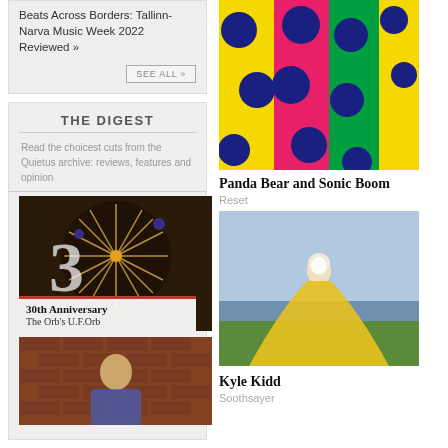Beats Across Borders: Tallinn-Narva Music Week 2022 Reviewed »
SEE ALL »
THE DIGEST
Read the choicest cuts from the Quietus archive: reviews, features and opinion
[Figure (photo): Dark background with a starburst/fireworks-like decorative element and glowing number 3]
30th Anniversary
The Orb's U.F.Orb
[Figure (photo): Man in colorful jacket against brick wall]
[Figure (photo): Colorful fabric rolls with large polka dots in yellow, pink, green and blue colors]
Panda Bear and Sonic Boom
Reset
[Figure (photo): Person in yellow flowing dress/cape standing on grass near water]
Kyle Kidd
Soothsayer